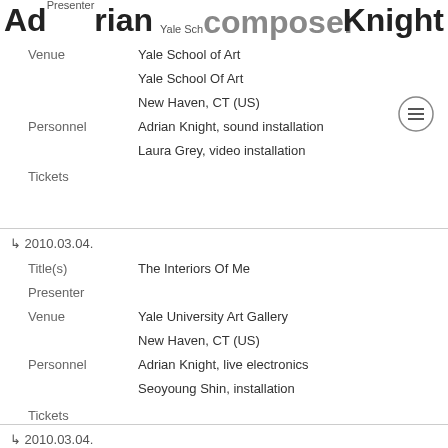Adrian  composer  Knight
Presenter
Venue: Yale School of Art, Yale School Of Art, New Haven, CT (US)
Personnel: Adrian Knight, sound installation; Laura Grey, video installation
Tickets
↳ 2010.03.04.
Title(s): The Interiors Of Me
Presenter
Venue: Yale University Art Gallery, New Haven, CT (US)
Personnel: Adrian Knight, live electronics; Seoyoung Shin, installation
Tickets
↳ 2010.03.04.